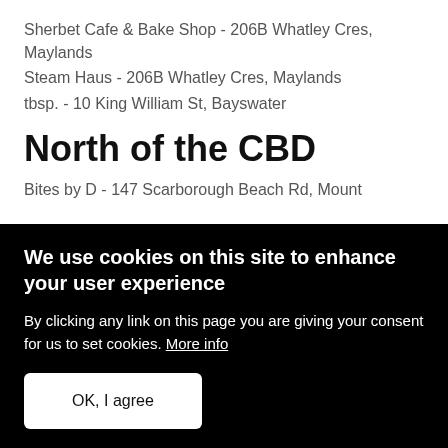Sherbet Cafe & Bake Shop - 206B Whatley Cres, Maylands
Steam Haus - 206B Whatley Cres, Maylands
tbsp. - 10 King William St, Bayswater
North of the CBD
Bites by D - 147 Scarborough Beach Rd, Mount
We use cookies on this site to enhance your user experience
By clicking any link on this page you are giving your consent for us to set cookies. More info
OK, I agree